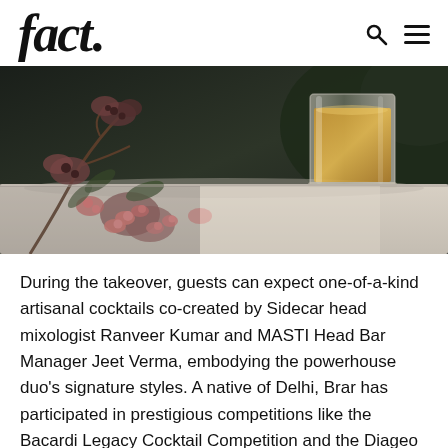fact.
[Figure (photo): Close-up photo of flowers and a glass of amber liquid (whisky/cocktail) on a white surface, dark green background]
During the takeover, guests can expect one-of-a-kind artisanal cocktails co-created by Sidecar head mixologist Ranveer Kumar and MASTI Head Bar Manager Jeet Verma, embodying the powerhouse duo's signature styles. A native of Delhi, Brar has participated in prestigious competitions like the Bacardi Legacy Cocktail Competition and the Diageo World Class Competition. Where he used his creative vision and unequivocal mixology skills to gain